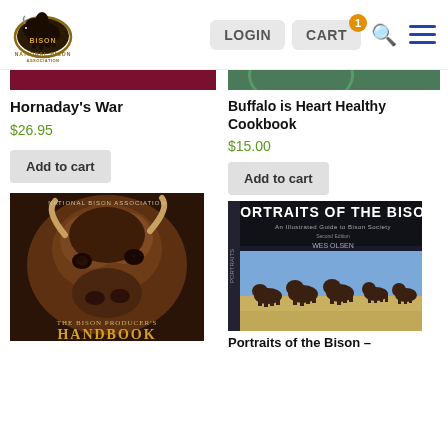[Figure (logo): National Bison Association logo with buffalo silhouette]
LOGIN
CART
Hornaday's War
$26.95
Add to cart
Buffalo is Heart Healthy Cookbook
$15.00
Add to cart
[Figure (photo): The Bison Producer's Handbook book cover showing close-up bison face]
[Figure (photo): Portraits of the Bison book cover showing herd on plain]
Portraits of the Bison –